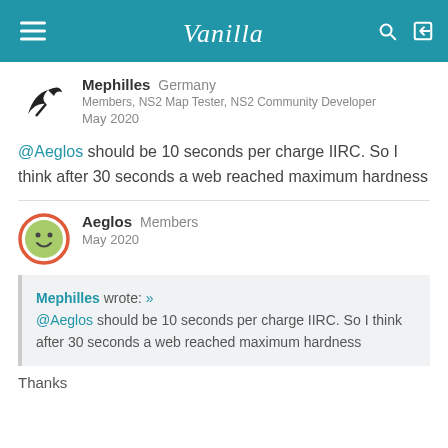Vanilla
Mephilles  Germany
Members, NS2 Map Tester, NS2 Community Developer
May 2020
@Aeglos should be 10 seconds per charge IIRC. So I think after 30 seconds a web reached maximum hardness
Aeglos  Members
May 2020
Mephilles wrote: »
@Aeglos should be 10 seconds per charge IIRC. So I think after 30 seconds a web reached maximum hardness
Thanks